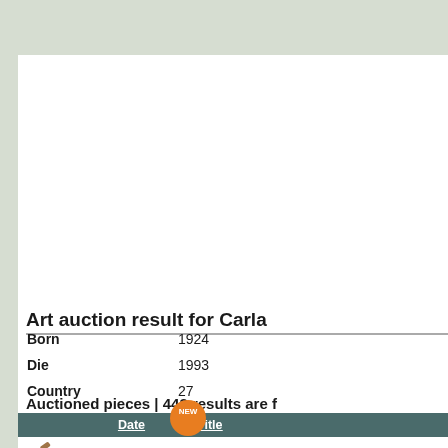Art auction result for Carla
| Born | 1924 |
| Die | 1993 |
| Country | 27 |
Auctioned pieces | 443 results are f
|  | Date | Title |
| --- | --- | --- |
| [hammer] | 11-28-2006 | Segni Biancon |
| [hammer] | 04-01-2006 | Composizione |
| [hammer] | 04-29-2006 | Verdeoro |
| [hammer] | 04-12-2006 | Negativo - Pos |
| [hammer] | 04-09-2005 | Senza Titolo |
| [hammer] | 12-13-2005 | Senza Titolo |
| [hammer] | 11-29-2007 | Pietrose Dister |